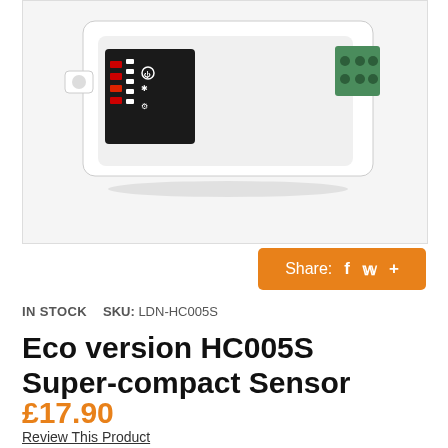[Figure (photo): Product photo of Eco version HC005S Super-compact Sensor — a small white rectangular electronic device with a black panel showing LED indicators and control icons, and green terminal connectors on the right side, photographed on a white background.]
Share: f  t  +
IN STOCK   SKU: LDN-HC005S
Eco version HC005S Super-compact Sensor
£17.90
Review This Product